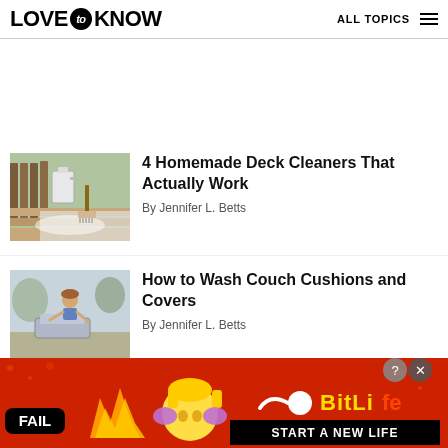LOVE to KNOW | ALL TOPICS
[Figure (photo): Deck cleaning image with water bucket, brush, and wet wooden deck]
4 Homemade Deck Cleaners That Actually Work
By Jennifer L. Betts
[Figure (photo): Person washing couch cushions outdoors]
How to Wash Couch Cushions and Covers
By Jennifer L. Betts
[Figure (screenshot): BitLife game advertisement banner — FAIL emoji scene with fire and character, BitLife logo, START A NEW LIFE text, close button]